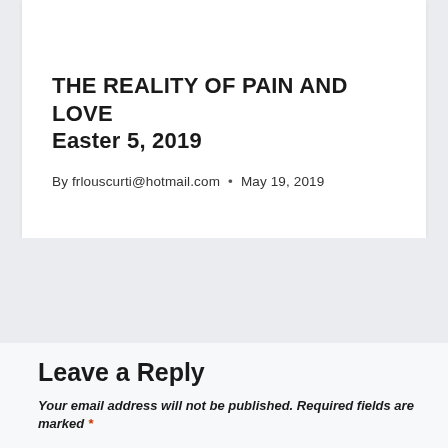THE REALITY OF PAIN AND LOVE Easter 5, 2019
By frlouscurti@hotmail.com  •  May 19, 2019
Leave a Reply
Your email address will not be published. Required fields are marked *